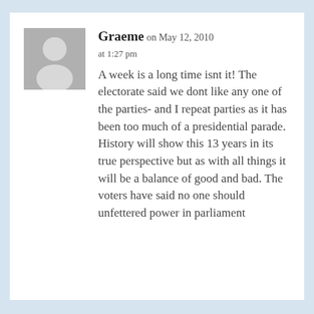[Figure (illustration): Grey avatar placeholder image showing a generic person silhouette (head and shoulders) on a grey background]
Graeme on May 12, 2010 at 1:27 pm
A week is a long time isnt it! The electorate said we dont like any one of the parties- and I repeat parties as it has been too much of a presidential parade. History will show this 13 years in its true perspective but as with all things it will be a balance of good and bad. The voters have said no one should unfettered power in parliament